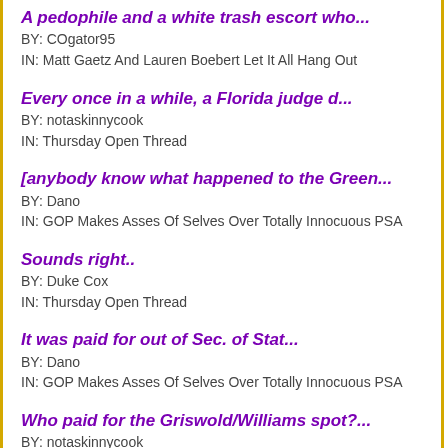A pedophile and a white trash escort who...
BY: COgator95
IN: Matt Gaetz And Lauren Boebert Let It All Hang Out
Every once in a while, a Florida judge d...
BY: notaskinnycook
IN: Thursday Open Thread
[anybody know what happened to the Green...
BY: Dano
IN: GOP Makes Asses Of Selves Over Totally Innocuous PSA
Sounds right..
BY: Duke Cox
IN: Thursday Open Thread
It was paid for out of Sec. of Stat...
BY: Dano
IN: GOP Makes Asses Of Selves Over Totally Innocuous PSA
Who paid for the Griswold/Williams spot?...
BY: notaskinnycook
IN: GOP Makes Asses Of Selves Over Totally Innocuous PSA
...
BY: